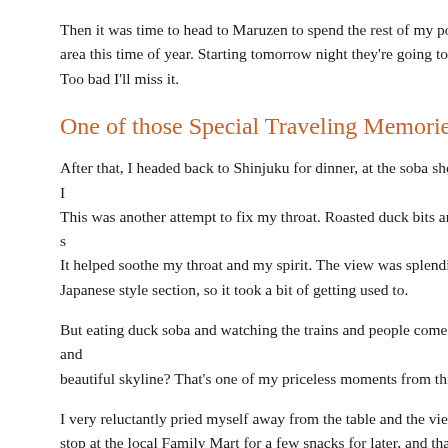Then it was time to head to Maruzen to spend the rest of my points area this time of year. Starting tomorrow night they're going to ha Too bad I'll miss it.
One of those Special Traveling Memories
After that, I headed back to Shinjuku for dinner, at the soba shop I This was another attempt to fix my throat. Roasted duck bits and s It helped soothe my throat and my spirit. The view was splendid a Japanese style section, so it took a bit of getting used to.
But eating duck soba and watching the trains and people come and beautiful skyline? That's one of my priceless moments from this t
I very reluctantly pried myself away from the table and the view a stop at the local Family Mart for a few snacks for later, and that w
I stopped by the front desk and paid the extra fee to check out late the start time to bill out in a sentence before I leave. I did it for